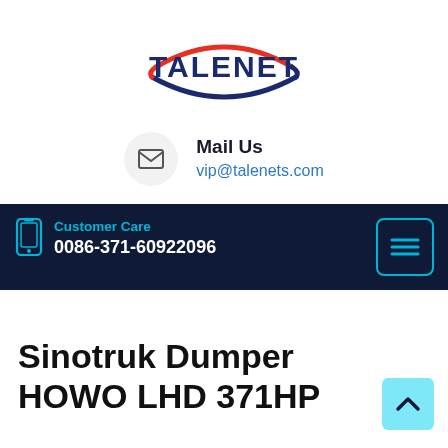[Figure (logo): TALENET company logo — dark blue bold text 'TALENET' with a red and blue elliptical swoosh/oval graphic element around it]
Mail Us
vip@talenets.com
Customer Care
0086-371-60922096
Sinotruk Dumper HOWO LHD 371HP